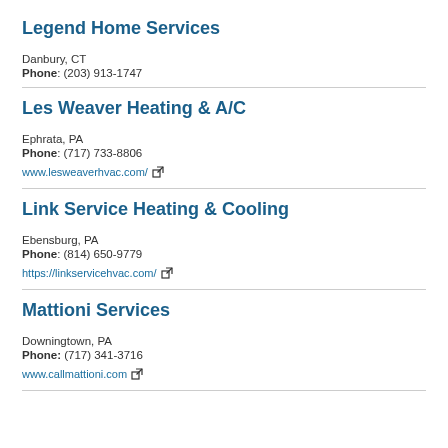Legend Home Services
Danbury, CT
Phone: (203) 913-1747
Les Weaver Heating & A/C
Ephrata, PA
Phone: (717) 733-8806
www.lesweaverhvac.com/
Link Service Heating & Cooling
Ebensburg, PA
Phone: (814) 650-9779
https://linkservicehvac.com/
Mattioni Services
Downingtown, PA
Phone: (717) 341-3716
www.callmattioni.com